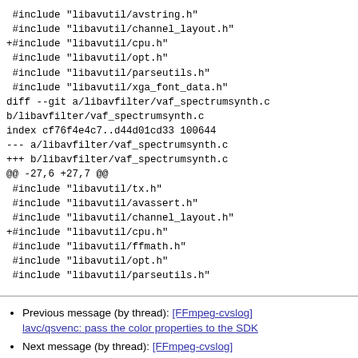#include "libavutil/avstring.h"
 #include "libavutil/channel_layout.h"
+#include "libavutil/cpu.h"
 #include "libavutil/opt.h"
 #include "libavutil/parseutils.h"
 #include "libavutil/xga_font_data.h"
diff --git a/libavfilter/vaf_spectrumsynth.c b/libavfilter/vaf_spectrumsynth.c
index cf76f4e4c7..d44d01cd33 100644
--- a/libavfilter/vaf_spectrumsynth.c
+++ b/libavfilter/vaf_spectrumsynth.c
@@ -27,6 +27,7 @@
 #include "libavutil/tx.h"
 #include "libavutil/avassert.h"
 #include "libavutil/channel_layout.h"
+#include "libavutil/cpu.h"
 #include "libavutil/ffmath.h"
 #include "libavutil/opt.h"
 #include "libavutil/parseutils.h"
Previous message (by thread): [FFmpeg-cvslog] lavc/qsvenc: pass the color properties to the SDK
Next message (by thread): [FFmpeg-cvslog] avfilter/avf_showspectrum: fix last frame/eof timestamp
Messages sorted by: [ date ] [ thread ] [ subject ] [ author ]